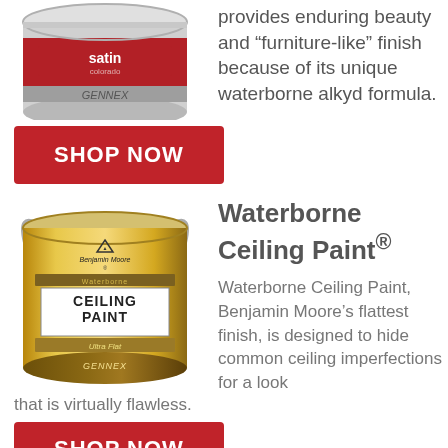[Figure (illustration): Benjamin Moore red satin paint can with Gennex label, partially visible at top]
provides enduring beauty and “furniture-like” finish because of its unique waterborne alkyd formula.
SHOP NOW
[Figure (illustration): Benjamin Moore Waterborne Ceiling Paint gold can with Gennex label, ultra flat finish]
Waterborne Ceiling Paint®
Waterborne Ceiling Paint, Benjamin Moore’s flattest finish, is designed to hide common ceiling imperfections for a look that is virtually flawless.
SHOP NOW